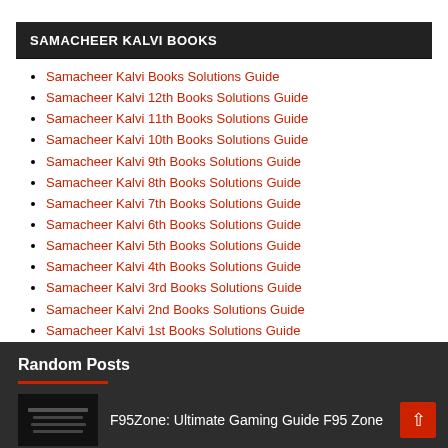SAMACHEER KALVI BOOKS
Samacheer Kalvi Books Solutions Guide
Samacheer Kalvi 12th Books Solutions Guide
Samacheer Kalvi 11th Books Solutions Guide
Samacheer Kalvi 10th Books Solutions Guide
Samacheer Kalvi 9th Books Solutions Guide
Samacheer Kalvi 8th Books Solutions Guide
Samacheer Kalvi 7th Books Solutions Guide
Samacheer Kalvi 6th Books Solutions Guide
Samacheer Kalvi 5th Books Solutions Guide
Samacheer Kalvi 4th Books Solutions Guide
Samacheer Kalvi 3rd Books Solutions Guide
Samacheer Kalvi 2nd Books Solutions Guide
Samacheer Kalvi 1st Books Solutions Guide
Random Posts
F95Zone: Ultimate Gaming Guide F95 Zone